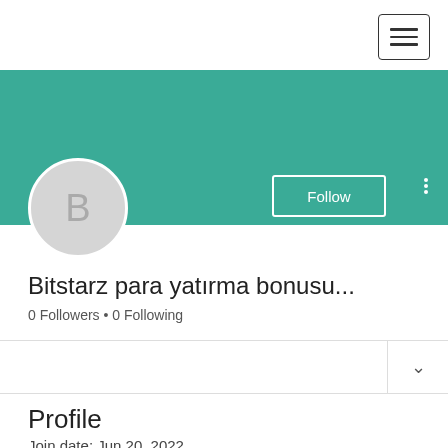[Figure (screenshot): Hamburger menu button icon (three horizontal lines) inside a rounded rectangle border, top-right corner]
[Figure (illustration): Teal/green cover banner background]
[Figure (illustration): Circular avatar with letter B on grey background]
Follow
Bitstarz para yatırma bonusu...
0 Followers • 0 Following
Profile
Join date: Jun 20, 2022